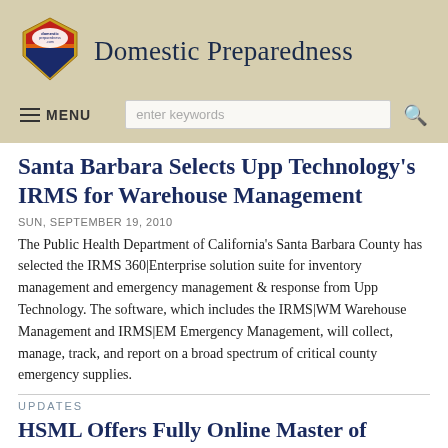[Figure (logo): Domestic Preparedness shield logo with red, blue, and orange coloring and text 'domesticpreparedness.com']
Domestic Preparedness
MENU
Santa Barbara Selects Upp Technology's IRMS for Warehouse Management
SUN, SEPTEMBER 19, 2010
The Public Health Department of California's Santa Barbara County has selected the IRMS 360|Enterprise solution suite for inventory management and emergency management & response from Upp Technology. The software, which includes the IRMS|WM Warehouse Management and IRMS|EM Emergency Management, will collect, manage, track, and report on a broad spectrum of critical county emergency supplies.
UPDATES
HSML Offers Fully Online Master of